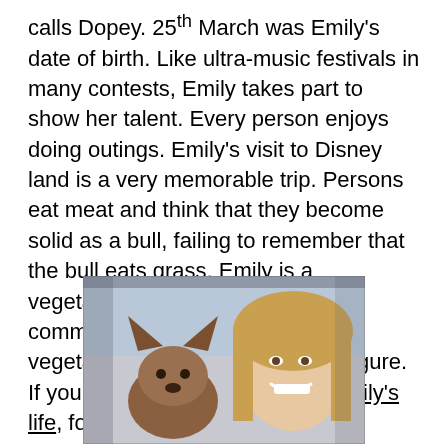calls Dopey. 25th March was Emily's date of birth. Like ultra-music festivals in many contests, Emily takes part to show her talent. Every person enjoys doing outings. Emily's visit to Disney land is a very memorable trip. Persons eat meat and think that they become solid as a bull, failing to remember that the bull eats grass. Emily is a vegetarian too.  Because of the community figure, she loves to eat vegetables to maintain her body figure. If you want to get in touch with Emily's life, follow her on Tik Tok.
[Figure (photo): A young woman smiling in a car with a small dog (appears to be a Chihuahua mix) beside her. The photo is a selfie-style shot taken inside a vehicle.]